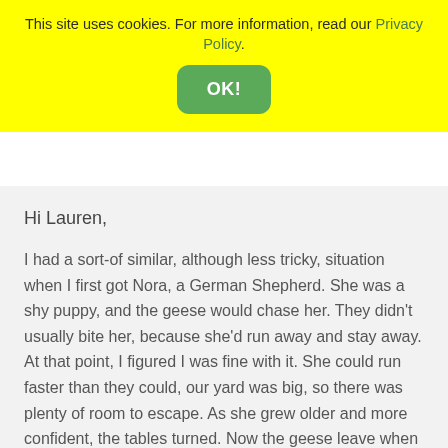This site uses cookies. For more information, read our Privacy Policy.
OK!
Hi Lauren,
I had a sort-of similar, although less tricky, situation when I first got Nora, a German Shepherd. She was a shy puppy, and the geese would chase her. They didn't usually bite her, because she'd run away and stay away. At that point, I figured I was fine with it. She could run faster than they could, our yard was big, so there was plenty of room to escape. As she grew older and more confident, the tables turned. Now the geese leave when they see her. Nora is